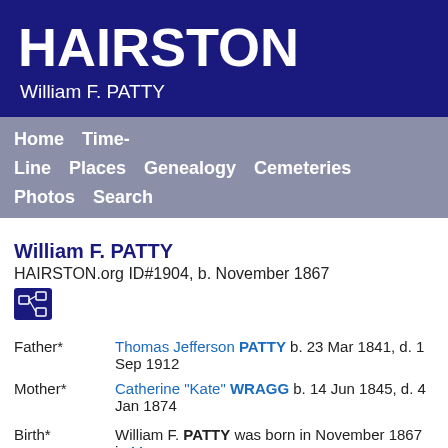HAIRSTON
William F. PATTY
Home  Time-Line  Places  Genealogy  Cemeteries  Photos  Search
William F. PATTY
HAIRSTON.org ID#1904, b. November 1867
| Field | Value |
| --- | --- |
| Father* | Thomas Jefferson PATTY b. 23 Mar 1841, d. 1 Sep 1912 |
| Mother* | Catherine "Kate" WRAGG b. 14 Jun 1845, d. 4 Jan 1874 |
| Birth* | William F. PATTY was born in November 1867 in M... He was the son of Thomas Jefferson PATTY and C... |
| Census 1870 | William F. PATTY appeared on the 1870 census of on 17 June 1870 in Macon, Noxubee County, Miss... |